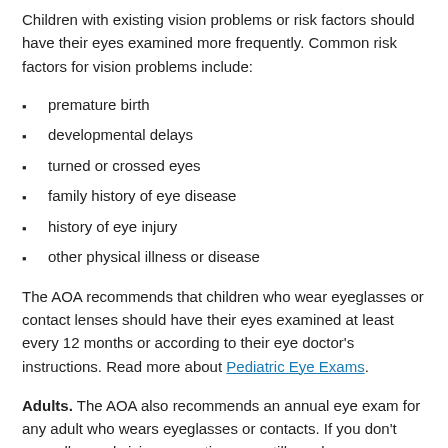Children with existing vision problems or risk factors should have their eyes examined more frequently. Common risk factors for vision problems include:
premature birth
developmental delays
turned or crossed eyes
family history of eye disease
history of eye injury
other physical illness or disease
The AOA recommends that children who wear eyeglasses or contact lenses should have their eyes examined at least every 12 months or according to their eye doctor's instructions. Read more about Pediatric Eye Exams.
Adults. The AOA also recommends an annual eye exam for any adult who wears eyeglasses or contacts. If you don't normally need vision correction, you still need an eye exam every two to